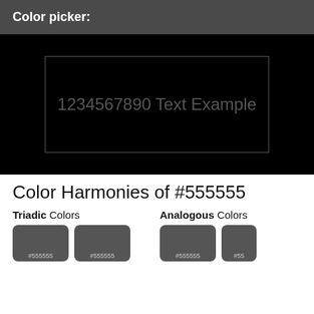Color picker:
[Figure (screenshot): Black color preview area with a bordered rectangle containing the text '1234567890 Text Example' in dark gray (#555555) on a black background]
Color Harmonies of #555555
Triadic Colors
Analogous Colors
[Figure (infographic): Color swatches showing Triadic and Analogous color harmonies for #555555, each swatch showing #555555 color with hex label]